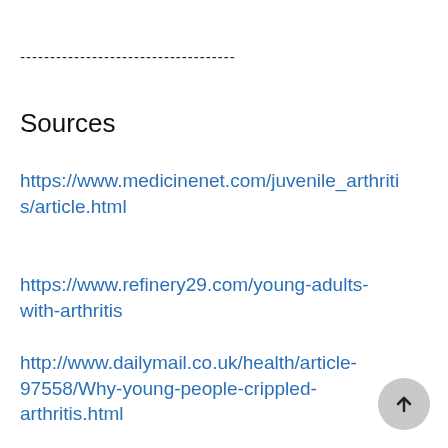------------------------------------
Sources
https://www.medicinenet.com/juvenile_arthritis/article.html
https://www.refinery29.com/young-adults-with-arthritis
http://www.dailymail.co.uk/health/article-97558/Why-young-people-crippled-arthritis.html